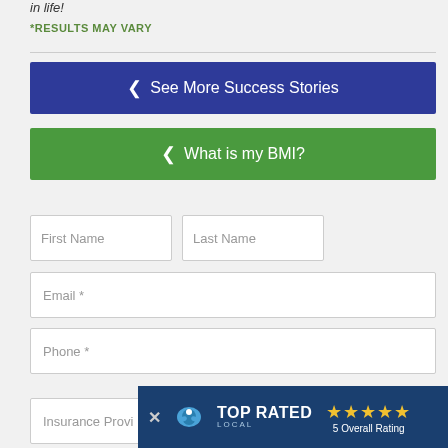in life!
*RESULTS MAY VARY
See More Success Stories
What is my BMI?
First Name
Last Name
Email *
Phone *
Insurance Provi
[Figure (screenshot): Top Rated Local banner with bird logo, star rating, and 5 Overall Rating text on dark blue background]